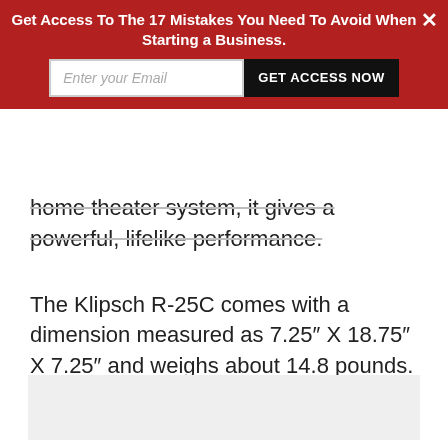[Figure (infographic): Red promotional banner overlay with headline 'Get Access To The 17 Mistakes You Need To Avoid When Starting a Business.', an email input field, a 'GET ACCESS NOW' button, and a close (X) button.]
home theater system, it gives a powerful, lifelike performance.
The Klipsch R-25C comes with a dimension measured as 7.25″ X 18.75″ X 7.25″ and weighs about 14.8 pounds.
[Figure (photo): Image placeholder area (light gray rectangle at bottom of page).]